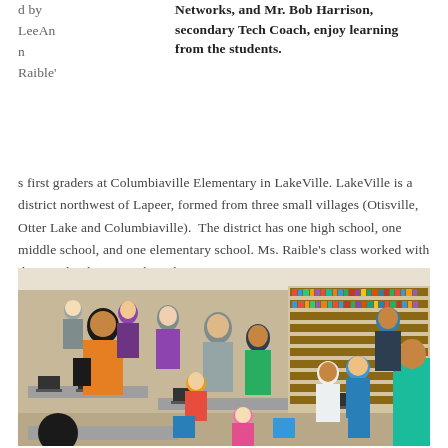d by LeeAnn Raible'
Networks, and Mr. Bob Harrison, secondary Tech Coach, enjoy learning from the students.
s first graders at Columbiaville Elementary in LakeVille. LakeVille is a district northwest of Lapeer, formed from three small villages (Otisville, Otter Lake and Columbiaville). The district has one high school, one middle school, and one elementary school. Ms. Raible's class worked with their Technology Coach, Mike Petty.
[Figure (photo): A crowded school library/classroom scene with students, parents, and educators around tables with laptops and devices. Bookshelves line the background. People are standing and seated interacting with technology.]